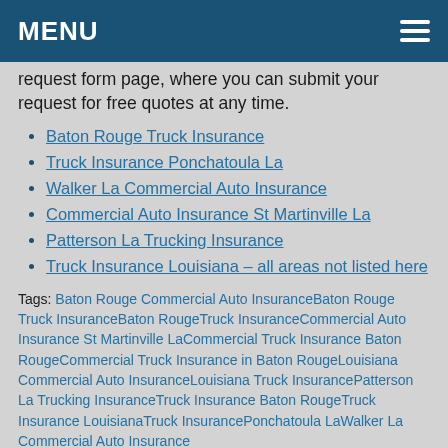MENU
request form page, where you can submit your request for free quotes at any time.
Baton Rouge Truck Insurance
Truck Insurance Ponchatoula La
Walker La Commercial Auto Insurance
Commercial Auto Insurance St Martinville La
Patterson La Trucking Insurance
Truck Insurance Louisiana – all areas not listed here
Tags: Baton Rouge Commercial Auto InsuranceBaton Rouge Truck InsuranceBaton RougeTruck InsuranceCommercial Auto Insurance St Martinville LaCommercial Truck Insurance Baton RougeCommercial Truck Insurance in Baton RougeLouisiana Commercial Auto InsuranceLouisiana Truck InsurancePatterson La Trucking InsuranceTruck Insurance Baton RougeTruck Insurance LouisianaTruck InsurancePonchatoula LaWalker La Commercial Auto Insurance